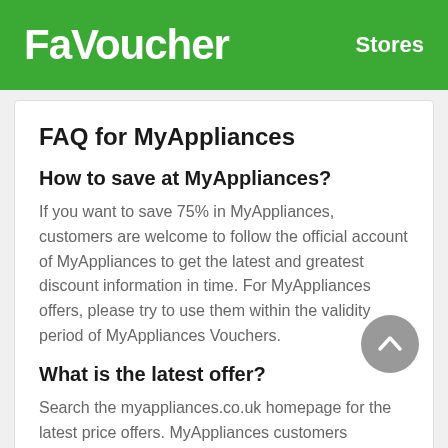FaVoucher   Stores
FAQ for MyAppliances
How to save at MyAppliances?
If you want to save 75% in MyAppliances, customers are welcome to follow the official account of MyAppliances to get the latest and greatest discount information in time. For MyAppliances offers, please try to use them within the validity period of MyAppliances Vouchers.
What is the latest offer?
Search the myappliances.co.uk homepage for the latest price offers. MyAppliances customers